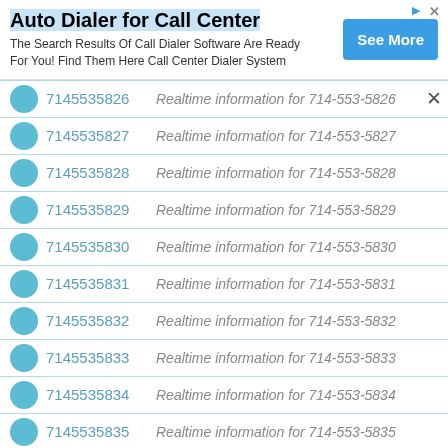[Figure (screenshot): Ad banner for Auto Dialer for Call Center with See More button]
7145535826   Realtime information for 714-553-5826
7145535827   Realtime information for 714-553-5827
7145535828   Realtime information for 714-553-5828
7145535829   Realtime information for 714-553-5829
7145535830   Realtime information for 714-553-5830
7145535831   Realtime information for 714-553-5831
7145535832   Realtime information for 714-553-5832
7145535833   Realtime information for 714-553-5833
7145535834   Realtime information for 714-553-5834
7145535835   Realtime information for 714-553-5835
7145535836   Realtime information for 714-553-5836
7145535837   Realtime information for 714-553-5837